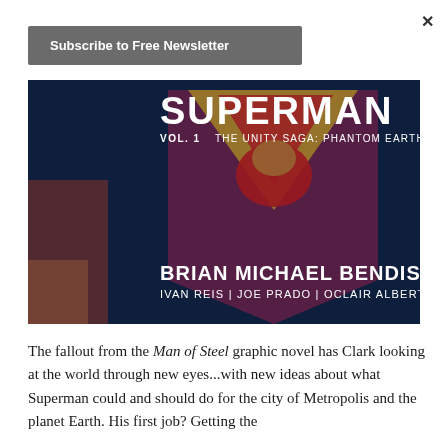×
Subscribe to Free Newsletter
[Figure (illustration): Superman Vol. 1: The Unity Saga: Phantom Earth comic book cover featuring a close-up of Superman's iconic 'S' shield logo in gold/red on a triangular red/purple background, with dramatic blue-tinted shadowing. Text on cover: SUPERMAN VOL. 1 THE UNITY SAGA: PHANTOM EARTH, BRIAN MICHAEL BENDIS, IVAN REIS | JOE PRADO | OCLAIR ALBERT]
The fallout from the Man of Steel graphic novel has Clark looking at the world through new eyes...with new ideas about what Superman could and should do for the city of Metropolis and the planet Earth. His first job? Getting the